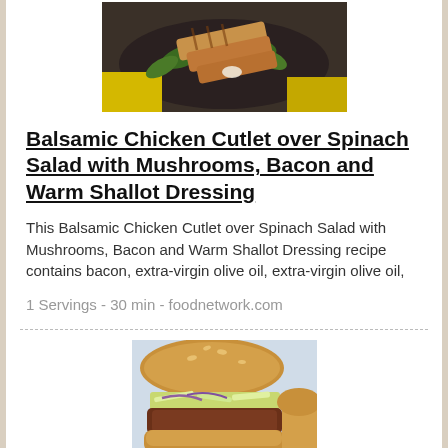[Figure (photo): Balsamic chicken cutlet on dark plate with spinach salad, on yellow background]
Balsamic Chicken Cutlet over Spinach Salad with Mushrooms, Bacon and Warm Shallot Dressing
This Balsamic Chicken Cutlet over Spinach Salad with Mushrooms, Bacon and Warm Shallot Dressing recipe contains bacon, extra-virgin olive oil, extra-virgin olive oil,
1 Servings - 30 min - foodnetwork.com
[Figure (photo): Burger with coleslaw on a bun, partially cropped]